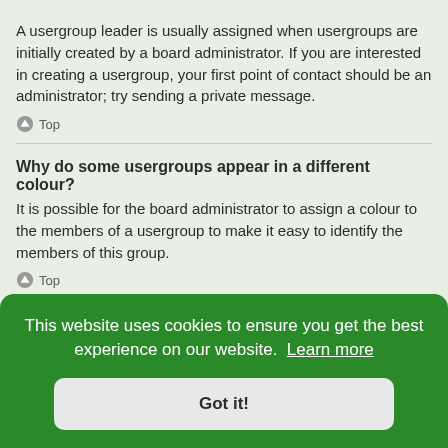A usergroup leader is usually assigned when usergroups are initially created by a board administrator. If you are interested in creating a usergroup, your first point of contact should be an administrator; try sending a private message.
Top
Why do some usergroups appear in a different colour?
It is possible for the board administrator to assign a colour to the members of a usergroup to make it easy to identify the members of this group.
Top
It is ... be ... you ... control
This website uses cookies to ensure you get the best experience on our website. Learn more
Got it!
Top